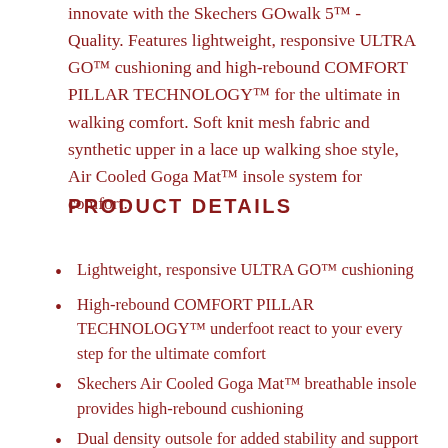innovate with the Skechers GOwalk 5™ - Quality. Features lightweight, responsive ULTRA GO™ cushioning and high-rebound COMFORT PILLAR TECHNOLOGY™ for the ultimate in walking comfort. Soft knit mesh fabric and synthetic upper in a lace up walking shoe style, Air Cooled Goga Mat™ insole system for comfort.
PRODUCT DETAILS
Lightweight, responsive ULTRA GO™ cushioning
High-rebound COMFORT PILLAR TECHNOLOGY™ underfoot react to your every step for the ultimate comfort
Skechers Air Cooled Goga Mat™ breathable insole provides high-rebound cushioning
Dual density outsole for added stability and support